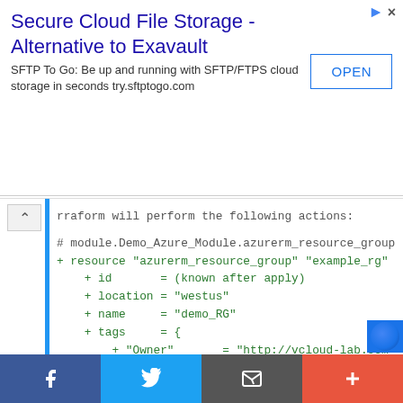[Figure (screenshot): Advertisement banner for 'Secure Cloud File Storage - Alternative to Exavault' by SFTP To Go with an OPEN button]
rraform will perform the following actions:

# module.Demo_Azure_Module.azurerm_resource_group
+ resource "azurerm_resource_group" "example_rg"
    + id       = (known after apply)
    + location = "westus"
    + name     = "demo_RG"
    + tags     = {
        + "Owner"       = "http://vcloud-lab.com"
        + "environment" = "Demo"
      }
    }
  }

Plan: 1 to add, 0 to change, 0 to destroy.
[Figure (screenshot): Social sharing bar with Facebook, Twitter, Email, and Plus buttons]